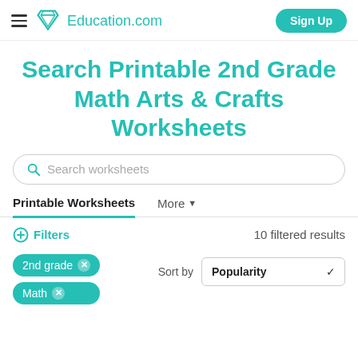Education.com | Sign Up
Search Printable 2nd Grade Math Arts & Crafts Worksheets
Search worksheets
Printable Worksheets   More
Filters   10 filtered results
2nd grade
Math
Sort by   Popularity